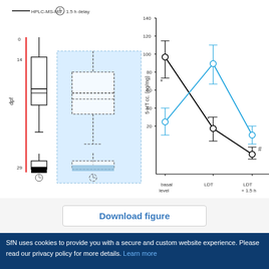[Figure (other): Multi-panel scientific figure showing box plots (dpf vs time), line chart of 5-HT concentration (ng/mg) across basal level, LDT, LDT+1.5h for social vs isolated zebrafish, choice index time series (panel c), and mean velocity time series (panel d) for social vs isolated groups over 10 min.]
Download figure
SfN uses cookies to provide you with a secure and custom website experience. Please read our privacy policy for more details. Learn more
I Accept